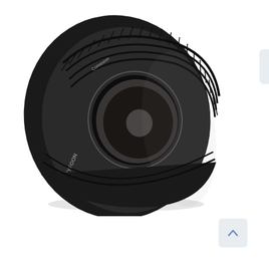[Figure (photo): Product photo of a Tyfoon Connexion car tyre (black, summer tyre) photographed at an angle on a white background. The tyre brand name 'Tyfoon' and model 'Connexion' are visible on the sidewall.]
[Figure (infographic): Two category icons in rounded square boxes: a sun/thermometer icon (summer/warm season) and a car icon, indicating this is a summer tyre for passenger cars.]
[Figure (infographic): A scroll-to-top button (upward chevron arrow) in a rounded square box, in the bottom-right corner of the page.]